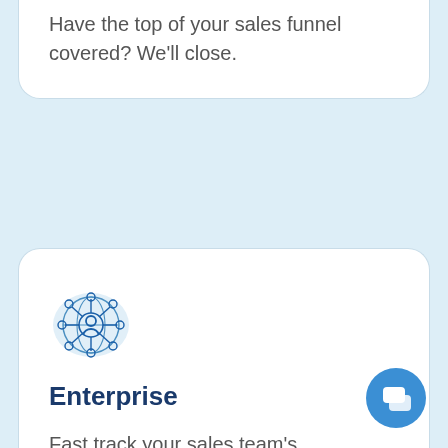Have the top of your sales funnel covered? We’ll close.
[Figure (illustration): Network/people icon with circular hub-and-spoke connections, in blue outline style with light blue circular background]
Enterprise
Fast track your sales team’s performance.